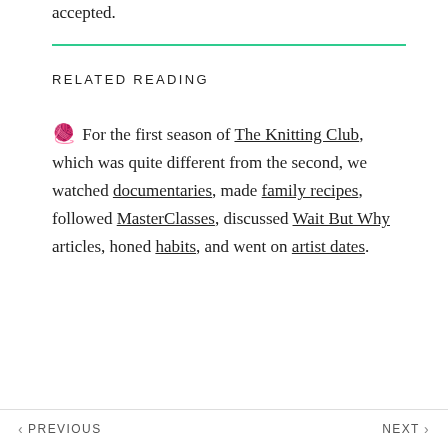accepted.
RELATED READING
🧶 For the first season of The Knitting Club, which was quite different from the second, we watched documentaries, made family recipes, followed MasterClasses, discussed Wait But Why articles, honed habits, and went on artist dates.
< PREVIOUS    NEXT >